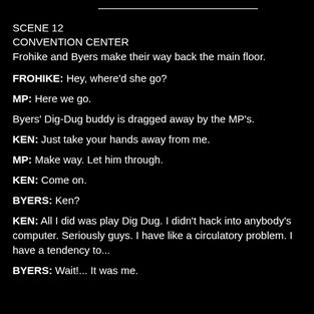SCENE 12
CONVENTION CENTER
Frohike and Byers make their way back the main floor.
FROHIKE: Hey, where'd she go?
MP: Here we go.
Byers' Dig-Dug buddy is dragged away by the MP's.
KEN: Just take your hands away from me.
MP: Make way. Let him through.
KEN: Come on.
BYERS: Ken?
KEN: All I did was play Dig Dug. I didn't hack into anybody's computer. Seriously guys. I have like a circulatory problem. I have a tendency to...
BYERS: Wait!... It was me.